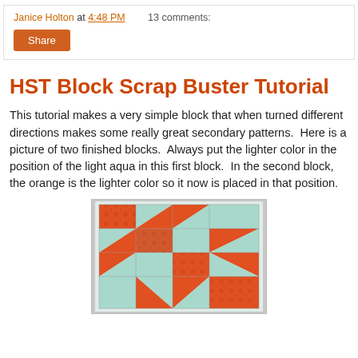Janice Holton at 4:48 PM   13 comments:
Share
HST Block Scrap Buster Tutorial
This tutorial makes a very simple block that when turned different directions makes some really great secondary patterns.  Here is a picture of two finished blocks.  Always put the lighter color in the position of the light aqua in this first block.  In the second block, the orange is the lighter color so it now is placed in that position.
[Figure (photo): Photo of two finished HST quilt blocks made with light aqua and orange/red patterned fabric arranged in a star-like pattern on a gray background.]